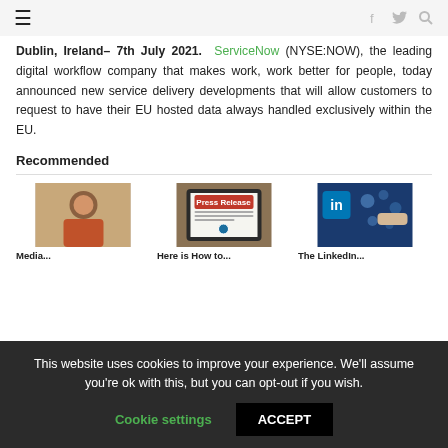≡  [navigation icons: facebook, twitter, search]
Dublin, Ireland– 7th July 2021. ServiceNow (NYSE:NOW), the leading digital workflow company that makes work, work better for people, today announced new service delivery developments that will allow customers to request to have their EU hosted data always handled exclusively within the EU.
Recommended
[Figure (photo): Photo of a woman smiling, sitting at a table]
[Figure (photo): Photo of a tablet showing a 'Press Release' document]
[Figure (photo): Photo of a LinkedIn logo with digital social media icons in background]
Media...
Here is How to...
The LinkedIn...
This website uses cookies to improve your experience. We'll assume you're ok with this, but you can opt-out if you wish.
Cookie settings   ACCEPT